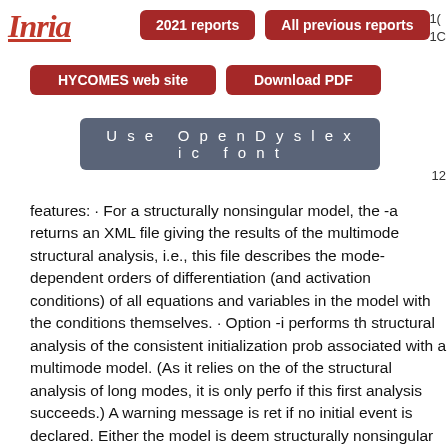[Figure (logo): Inria logo in red italic cursive font with red underline]
2021 reports | All previous reports
HYCOMES web site | Download PDF
Use OpenDyslexic font
features: · For a structurally nonsingular model, the -a returns an XML file giving the results of the multimode structural analysis, i.e., this file describes the mode-dependent orders of differentiation (and activation conditions) of all equations and variables in the model with the conditions themselves. · Option -i performs the structural analysis of the consistent initialization prob associated with a multimode model. (As it relies on the of the structural analysis of long modes, it is only perfo if this first analysis succeeds.) A warning message is ret if no initial event is declared. Either the model is deem structurally nonsingular for all initial events and all associated modes, or the underdetermined and overdetermined subsystems of the initialization syste given mode are displayed. Improvements of this optio including the generation of a conditional dependency